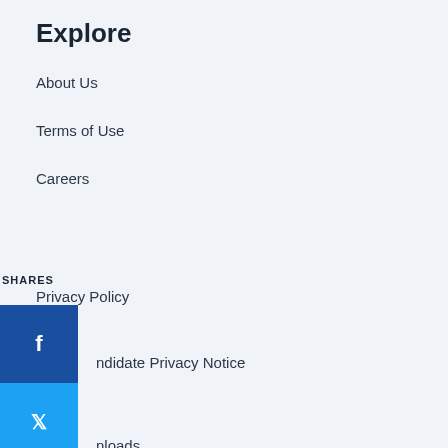Explore
About Us
Terms of Use
Careers
SHARES
Privacy Policy
Candidate Privacy Notice
Downloads
Contact
Address
Johnsons of Whixley,
Gilsthwaite Lane, Kirk Hammerton,
Whixley,
York
YO26 8AO,